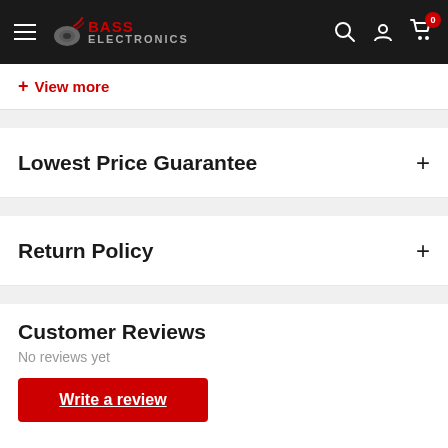Bass Electronics — navigation header with hamburger menu, logo, search, account, and cart (0 items)
+ View more
Lowest Price Guarantee
Return Policy
Customer Reviews
No reviews yet
Write a review